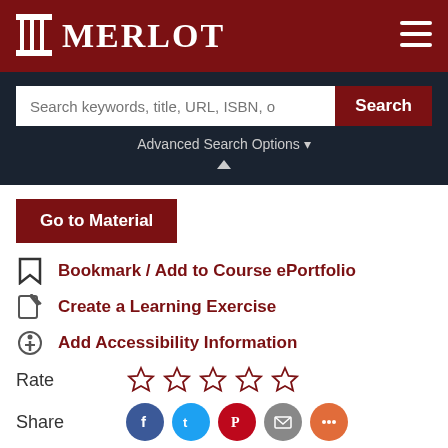[Figure (logo): MERLOT logo with pillar icon on dark red header bar]
[Figure (screenshot): Search bar with placeholder text 'Search keywords, title, URL, ISBN, o' and red Search button]
Advanced Search Options ▾
Go to Material
Bookmark / Add to Course ePortfolio
Create a Learning Exercise
Add Accessibility Information
Rate
Share
Add a Comment